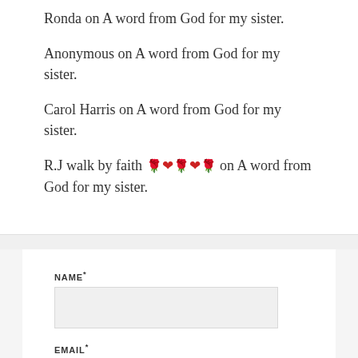Ronda on A word from God for my sister.
Anonymous on A word from God for my sister.
Carol Harris on A word from God for my sister.
R.J walk by faith 🌹❤️🌹❤️🌹 on A word from God for my sister.
NAME*
EMAIL*